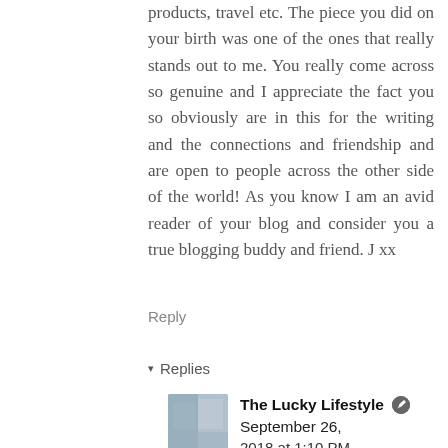products, travel etc. The piece you did on your birth was one of the ones that really stands out to me. You really come across so genuine and I appreciate the fact you so obviously are in this for the writing and the connections and friendship and are open to people across the other side of the world! As you know I am an avid reader of your blog and consider you a true blogging buddy and friend. J xx
Reply
▾ Replies
The Lucky Lifestyle  September 26, 2018 at 1:10 PM
Thank you so much, Joanne. That